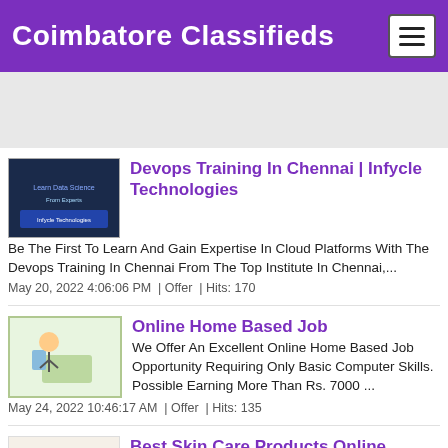Coimbatore Classifieds
[Figure (screenshot): Advertisement banner placeholder]
Devops Training In Chennai | Infycle Technologies
Be The First To Learn And Gain Expertise In Cloud Platforms With The Devops Training In Chennai From The Top Institute In Chennai,...
May 20, 2022 4:06:06 PM  |  Offer  |  Hits: 170
Online Home Based Job
We Offer An Excellent Online Home Based Job Opportunity Requiring Only Basic Computer Skills. Possible Earning More Than Rs. 7000 ...
May 24, 2022 10:46:17 AM  |  Offer  |  Hits: 135
Best Skin Care Products Online
Kzen Skincare Plegde Ensures That The Whole Production Chain, From Ingredients To Finished Products, Is